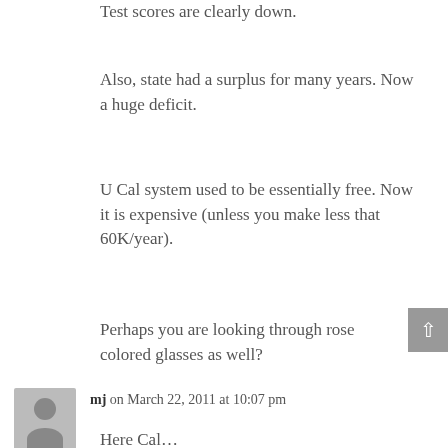Test scores are clearly down.
Also, state had a surplus for many years. Now a huge deficit.
U Cal system used to be essentially free. Now it is expensive (unless you make less that 60K/year).
Perhaps you are looking through rose colored glasses as well?
mj on March 22, 2011 at 10:07 pm
Here Cal…